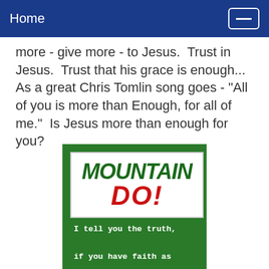Home
more - give more - to Jesus.  Trust in Jesus.  Trust that his grace is enough...  As a great Chris Tomlin song goes - "All of you is more than Enough, for all of me."  Is Jesus more than enough for you?
[Figure (illustration): Mountain DO! logo parody image on green background with quote: I tell you the truth, if you have faith as small as a mustard seed, you can say to this mountain, 'Move from here to]